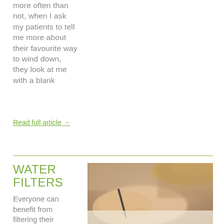more often than not, when I ask my patients to tell me more about their favourite way to wind down, they look at me with a blank
Read full article →
WATER FILTERS
Everyone can benefit from filtering their
[Figure (photo): Close-up photo of a person's hands writing with a pen on paper, blurred background, warm tones]